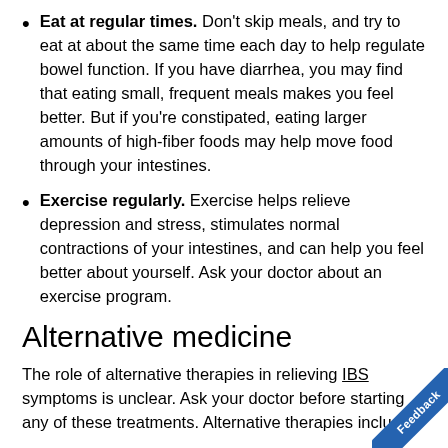Eat at regular times. Don't skip meals, and try to eat at about the same time each day to help regulate bowel function. If you have diarrhea, you may find that eating small, frequent meals makes you feel better. But if you're constipated, eating larger amounts of high-fiber foods may help move food through your intestines.
Exercise regularly. Exercise helps relieve depression and stress, stimulates normal contractions of your intestines, and can help you feel better about yourself. Ask your doctor about an exercise program.
Alternative medicine
The role of alternative therapies in relieving IBS symptoms is unclear. Ask your doctor before starting any of these treatments. Alternative therapies include:
Hypnosis. A trained professional teaches you how to enter a relaxed state and then guides you in...